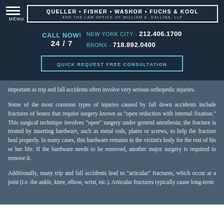QUELLER • FISHER • WASHOR • FUCHS & KOOL AND THE LAW OFFICE OF WILLIAM A. GALLINA, LLP
CALL NOW! NEW YORK CITY - 212.406.1700 24 / 7 BRONX - 718.892.0400
QUICK REQUEST FREE CONSULTATION
important as trip and fall accidents often involve very serious orthopedic injuries.
Some of the most common types of injuries caused by fall down accidents include fractures of bones that require surgery known as "open reduction with internal fixation." This surgical technique involves "open" surgery under general anesthesia; the fracture is treated by inserting hardware, such as metal rods, plates or screws, to help the fracture heal properly. In many cases, this hardware remains in the victim's body for the rest of his or her life. If the hardware needs to be removed, another major surgery is required to remove it.
Additionally, many trip and fall accidents lead to "articular" fractures, which occur at a joint (i.e. the ankle, knee, elbow, wrist, etc.). Articular fractures typically cause long-term